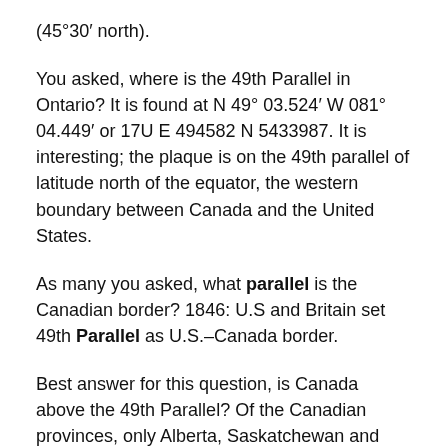(45°30′ north).
You asked, where is the 49th Parallel in Ontario? It is found at N 49° 03.524′ W 081° 04.449′ or 17U E 494582 N 5433987. It is interesting; the plaque is on the 49th parallel of latitude north of the equator, the western boundary between Canada and the United States.
As many you asked, what parallel is the Canadian border? 1846: U.S and Britain set 49th Parallel as U.S.–Canada border.
Best answer for this question, is Canada above the 49th Parallel? Of the Canadian provinces, only Alberta, Saskatchewan and Manitoba lie entirely north of the 49th parallel; even Victoria, the capital of British Columbia, lies far south of many Washingtonians — it sits at about the same latitude as Boundary Bay State Park.